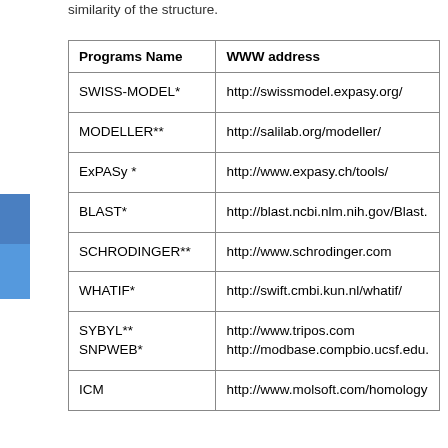similarity of the structure.
| Programs Name | WWW address |
| --- | --- |
| SWISS-MODEL* | http://swissmodel.expasy.org/ |
| MODELLER** | http://salilab.org/modeller/ |
| ExPASy * | http://www.expasy.ch/tools/ |
| BLAST* | http://blast.ncbi.nlm.nih.gov/Blast. |
| SCHRODINGER** | http://www.schrodinger.com |
| WHATIF* | http://swift.cmbi.kun.nl/whatif/ |
| SYBYL**
SNPWEB* | http://www.tripos.com
http://modbase.compbio.ucsf.edu. |
| ICM | http://www.molsoft.com/homology |